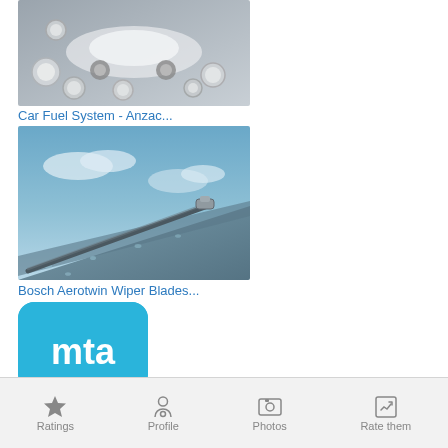[Figure (photo): Car fuel system parts — silver/chrome automotive components and sensors arranged around a white car chassis cutaway on a grey background]
Car Fuel System - Anzac...
[Figure (photo): Bosch Aerotwin wiper blade close-up on a car windshield with water droplets, blue-tinted sky with clouds in the background]
Bosch Aerotwin Wiper Blades...
[Figure (logo): MTA logo — white 'mta' lettering on a blue rounded-square background]
Ratings   Profile   Photos   Rate them